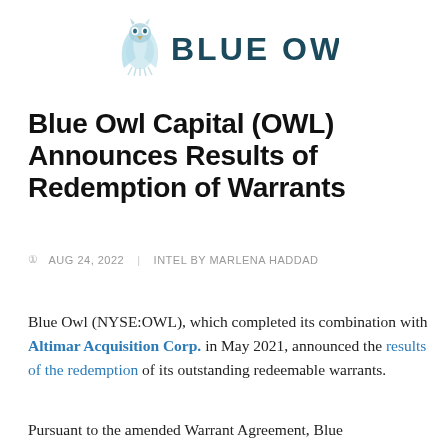[Figure (logo): Blue Owl logo with owl icon and 'BLUE OWL' text in teal/dark blue]
Blue Owl Capital (OWL) Announces Results of Redemption of Warrants
AUG 24, 2022   INTEL BY MARLENA HADDAD
Blue Owl (NYSE:OWL), which completed its combination with Altimar Acquisition Corp. in May 2021, announced the results of the redemption of its outstanding redeemable warrants.
Pursuant to the amended Warrant Agreement, Blue